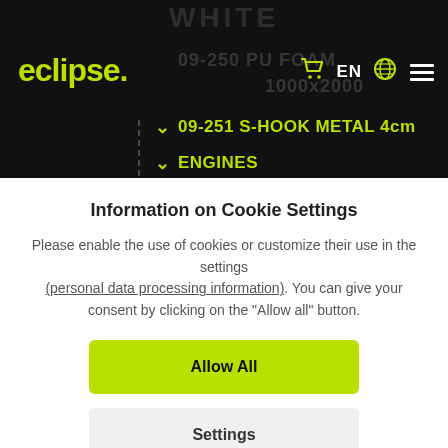eclipse. | 09-250 PU FOAM | WHITE | 1000x2000 | EN
09-251 S-HOOK METAL 4cm
ENGINES
Information on Cookie Settings
Please enable the use of cookies or customize their use in the settings (personal data processing information). You can give your consent by clicking on the "Allow all" button.
Allow All
Settings